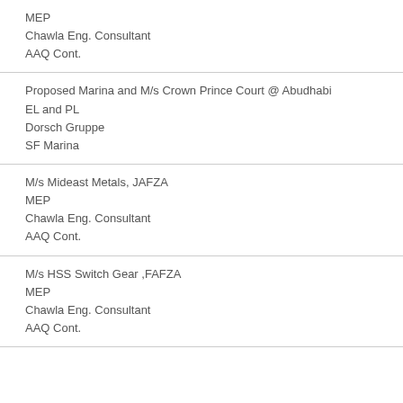MEP
Chawla Eng. Consultant
AAQ Cont.
Proposed Marina and M/s Crown Prince Court @ Abudhabi
EL and PL
Dorsch Gruppe
SF Marina
M/s Mideast Metals, JAFZA
MEP
Chawla Eng. Consultant
AAQ Cont.
M/s HSS Switch Gear ,FAFZA
MEP
Chawla Eng. Consultant
AAQ Cont.